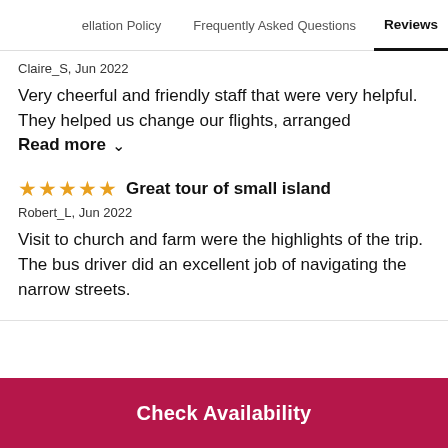ellation Policy   Frequently Asked Questions   Reviews
Claire_S, Jun 2022
Very cheerful and friendly staff that were very helpful. They helped us change our flights, arranged
Read more ∨
Great tour of small island
Robert_L, Jun 2022
Visit to church and farm were the highlights of the trip. The bus driver did an excellent job of navigating the narrow streets.
Check Availability